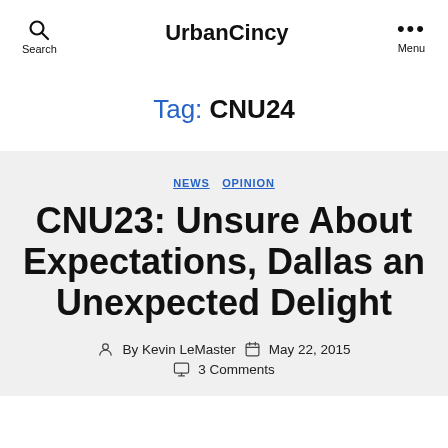UrbanCincy
Tag: CNU24
NEWS  OPINION
CNU23: Unsure About Expectations, Dallas an Unexpected Delight
By Kevin LeMaster  May 22, 2015  3 Comments